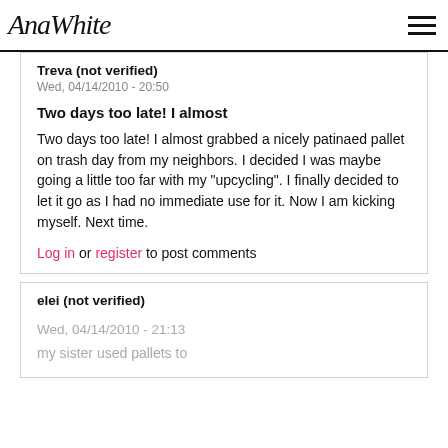AnaWhite
Treva (not verified)
Wed, 04/14/2010 - 20:50
Two days too late! I almost
Two days too late! I almost grabbed a nicely patinaed pallet on trash day from my neighbors. I decided I was maybe going a little too far with my "upcycling". I finally decided to let it go as I had no immediate use for it. Now I am kicking myself. Next time.
Log in or register to post comments
elei (not verified)
Wed, 04/14/2010 - 21:13
my sister used pallets to